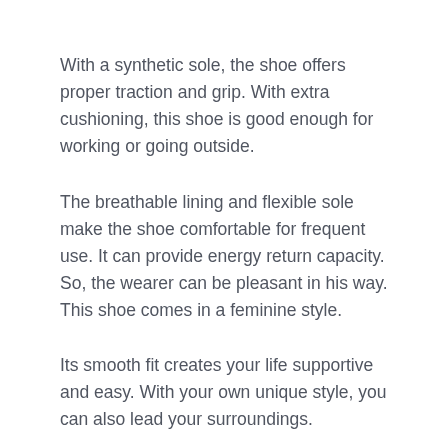With a synthetic sole, the shoe offers proper traction and grip. With extra cushioning, this shoe is good enough for working or going outside.
The breathable lining and flexible sole make the shoe comfortable for frequent use. It can provide energy return capacity. So, the wearer can be pleasant in his way. This shoe comes in a feminine style.
Its smooth fit creates your life supportive and easy. With your own unique style, you can also lead your surroundings.